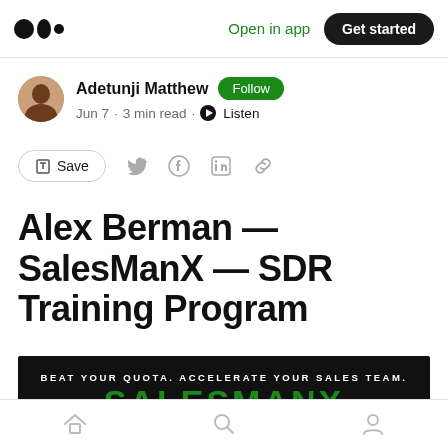Medium logo | Open in app | Get started
Adetunji Matthew · Follow
Jun 7 · 3 min read · Listen
Save (with social share icons: Twitter, Facebook, LinkedIn, Link)
Alex Berman — SalesManX — SDR Training Program
[Figure (screenshot): Dark banner image showing 'BEAT YOUR QUOTA. ACCELERATE YOUR SALES TEAM.' in white text and 'SALESMANX' in large green letters on a black background]
Home | Search | Profile navigation icons